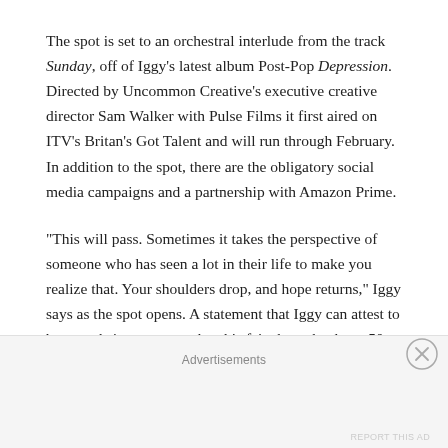The spot is set to an orchestral interlude from the track Sunday, off of Iggy's latest album Post-Pop Depression. Directed by Uncommon Creative's executive creative director Sam Walker with Pulse Films it first aired on ITV's Britan's Got Talent and will run through February. In addition to the spot, there are the obligatory social media campaigns and a partnership with Amazon Prime.
"This will pass. Sometimes it takes the perspective of someone who has seen a lot in their life to make you realize that. Your shoulders drop, and hope returns," Iggy says as the spot opens. A statement that Iggy can attest to because he's seen more than his fair share thanks to 50 plus years of his rock and roll lifestyle.
"Never mind the worst week of someone's life, what about a year in the life of the UK? We wanted to say it like it is, so we needed a voice that lays on it all.
Advertisements